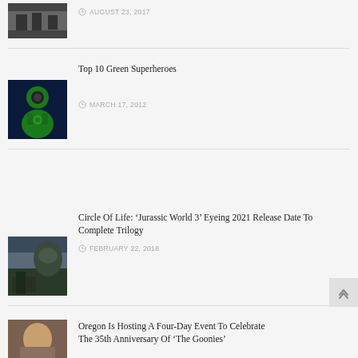[Figure (photo): Partial image of people, top of page, partially cropped]
AUGUST 23, 2017
Top 10 Green Superheroes
[Figure (photo): Green Lantern superhero in green costume]
MARCH 17, 2012
Circle Of Life: ‘Jurassic World 3’ Eyeing 2021 Release Date To Complete Trilogy
[Figure (photo): Jurassic World dinosaur scene]
FEBRUARY 22, 2018
Oregon Is Hosting A Four-Day Event To Celebrate The 35th Anniversary Of ‘The Goonies’
[Figure (photo): Person photo, partially visible at bottom]